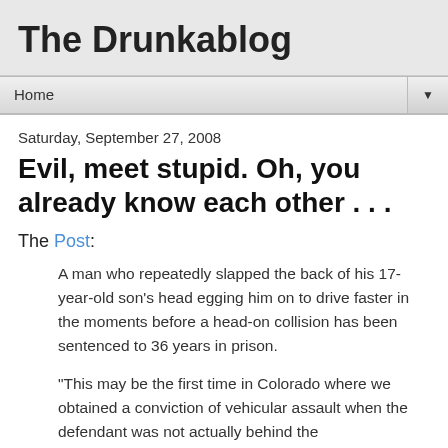The Drunkablog
Home
Saturday, September 27, 2008
Evil, meet stupid. Oh, you already know each other . . .
The Post:
A man who repeatedly slapped the back of his 17-year-old son's head egging him on to drive faster in the moments before a head-on collision has been sentenced to 36 years in prison.
"This may be the first time in Colorado where we obtained a conviction of vehicular assault when the defendant was not actually behind the